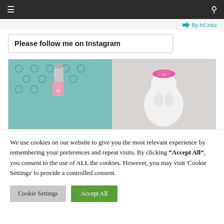Navigation bar with menu and search icons
By InLinkz
Please follow me on Instagram
[Figure (photo): Two-panel photo: left panel shows a silver spray bottle on teal crochet fabric with pink label; right panel shows a white ceramic bird figurine wearing a pink hat/bow with text on it]
We use cookies on our website to give you the most relevant experience by remembering your preferences and repeat visits. By clicking “Accept All”, you consent to the use of ALL the cookies. However, you may visit 'Cookie Settings' to provide a controlled consent.
Cookie Settings   Accept All